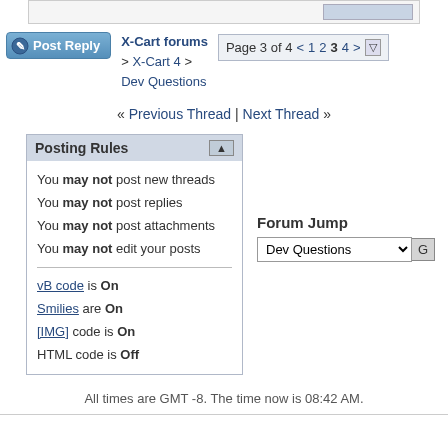[Figure (screenshot): Partial top section of a forum page showing a content area]
X-Cart forums > X-Cart 4 > Dev Questions — Page 3 of 4 navigation with page links 1 2 3 4
« Previous Thread | Next Thread »
Posting Rules
You may not post new threads
You may not post replies
You may not post attachments
You may not edit your posts
vB code is On
Smilies are On
[IMG] code is On
HTML code is Off
Forum Jump — Dev Questions
All times are GMT -8. The time now is 08:42 AM.
X-Cart forums © 2001-2020